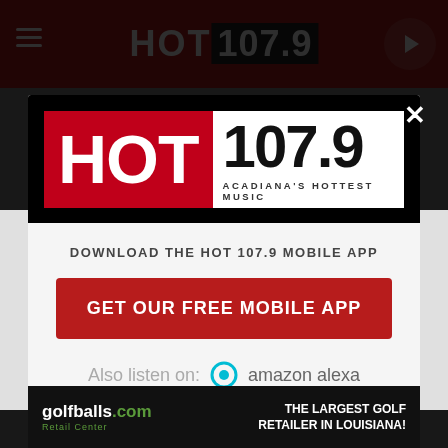[Figure (screenshot): HOT 107.9 radio station website header with red background, hamburger menu icon on left, HOT 107.9 logo text in center, play button on right]
[Figure (logo): HOT 107.9 ACADIANA'S HOTTEST MUSIC logo - red block with HOT text and white block with 107.9 frequency number]
DOWNLOAD THE HOT 107.9 MOBILE APP
GET OUR FREE MOBILE APP
Also listen on:  amazon alexa
[Figure (infographic): golfballs.com Retail Center advertisement - THE LARGEST GOLF RETAILER IN LOUISIANA!]